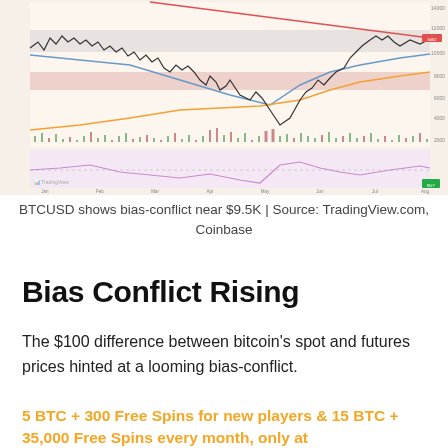[Figure (continuous-plot): BTCUSD candlestick price chart showing bias-conflict near $9.5K with trend lines, moving averages, support/resistance zones, and RSI indicator panel. Source: TradingView.com, Coinbase.]
BTCUSD shows bias-conflict near $9.5K | Source: TradingView.com, Coinbase
Bias Conflict Rising
The $100 difference between bitcoin's spot and futures prices hinted at a looming bias-conflict.
5 BTC + 300 Free Spins for new players & 15 BTC + 35,000 Free Spins every month, only at